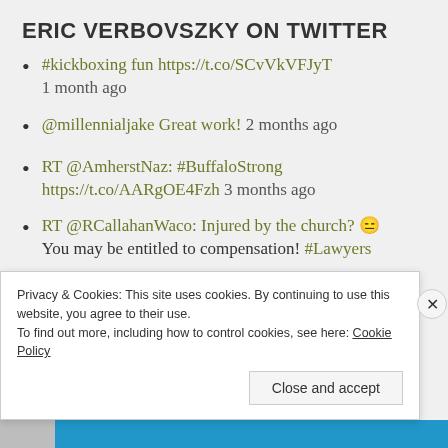ERIC VERBOVSZKY ON TWITTER
#kickboxing fun https://t.co/SCvVkVFJyT 1 month ago
@millennialjake Great work! 2 months ago
RT @AmherstNaz: #BuffaloStrong https://t.co/AARgOE4Fzh 3 months ago
RT @RCallahanWaco: Injured by the church? 😑 You may be entitled to compensation! #Lawyers
Privacy & Cookies: This site uses cookies. By continuing to use this website, you agree to their use.
To find out more, including how to control cookies, see here: Cookie Policy
Close and accept